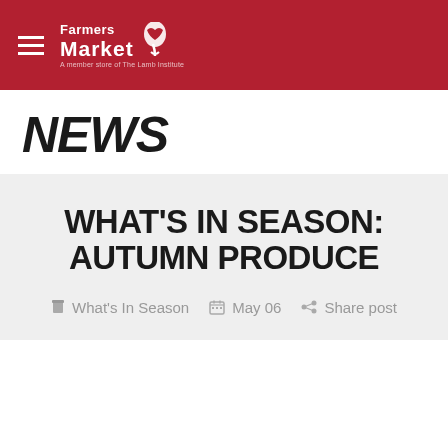Farmers Market
NEWS
WHAT'S IN SEASON: AUTUMN PRODUCE
What's In Season   May 06   Share post